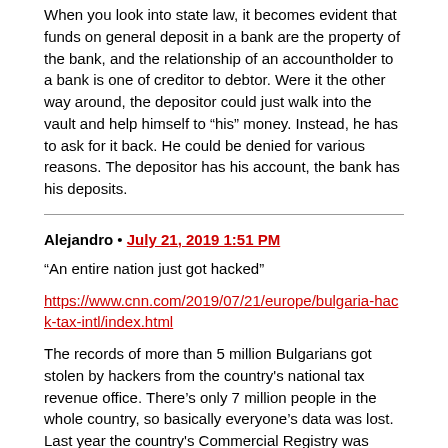When you look into state law, it becomes evident that funds on general deposit in a bank are the property of the bank, and the relationship of an accountholder to a bank is one of creditor to debtor. Were it the other way around, the depositor could just walk into the vault and help himself to “his” money. Instead, he has to ask for it back. He could be denied for various reasons. The depositor has his account, the bank has his deposits.
Alejandro • July 21, 2019 1:51 PM
“An entire nation just got hacked”
https://www.cnn.com/2019/07/21/europe/bulgaria-hack-tax-intl/index.html
The records of more than 5 million Bulgarians got stolen by hackers from the country's national tax revenue office. There’s only 7 million people in the whole country, so basically everyone’s data was lost. Last year the country's Commercial Registry was brought down in a similar fashion. An arrest has been made.